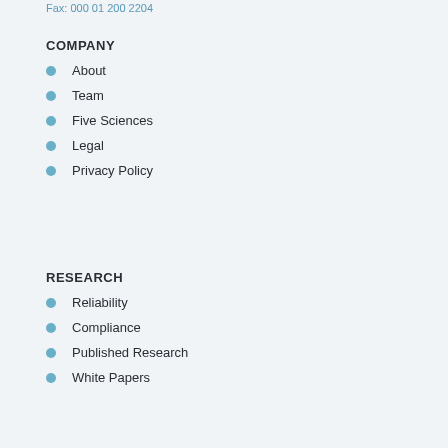Fax: 000 01 200 2204
COMPANY
About
Team
Five Sciences
Legal
Privacy Policy
RESEARCH
Reliability
Compliance
Published Research
White Papers